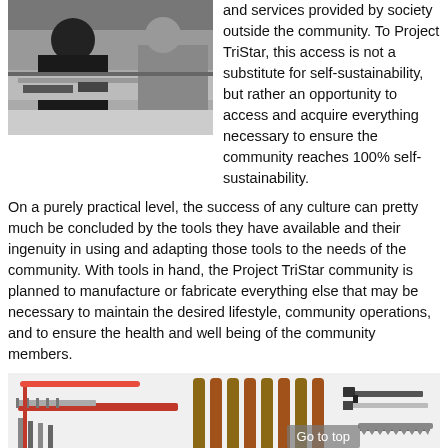[Figure (photo): Black and white photo of a person working at what appears to be a workbench or store counter with tools or items spread out]
and services provided by society outside the community. To Project TriStar, this access is not a substitute for self-sustainability, but rather an opportunity to access and acquire everything necessary to ensure the community reaches 100% self-sustainability.
On a purely practical level, the success of any culture can pretty much be concluded by the tools they have available and their ingenuity in using and adapting those tools to the needs of the community. With tools in hand, the Project TriStar community is planned to manufacture or fabricate everything else that may be necessary to maintain the desired lifestyle, community operations, and to ensure the health and well being of the community members.
[Figure (photo): Color photo showing various hand tools including garden tools, handles/sticks, knives, and a saw arranged on a white background]